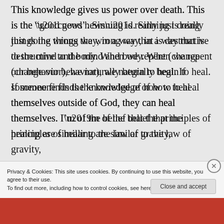This knowledge gives us power over death. This is the “good news”. Sinning is really just doing things the wrong way, in a way that is destructive to the mind and body. When we repent (change our behavior), we naturally begin to heal. If someone finds the knowledge of how to heal themselves outside of God, they can heal themselves. I’m of the belief that the principles of healing are similar to the law of gravity,
Privacy & Cookies: This site uses cookies. By continuing to use this website, you agree to their use.
To find out more, including how to control cookies, see here: Cookie Policy